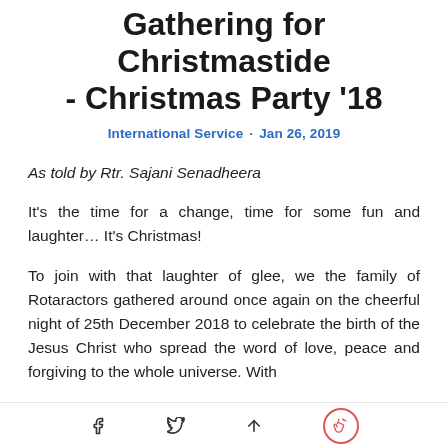Gathering for Christmastide - Christmas Party '18
International Service · Jan 26, 2019
As told by Rtr. Sajani Senadheera
It's the time for a change, time for some fun and laughter… It's Christmas!
To join with that laughter of glee, we the family of Rotaractors gathered around once again on the cheerful night of 25th December 2018 to celebrate the birth of the Jesus Christ who spread the word of love, peace and forgiving to the whole universe. With
Facebook Twitter Share Clap